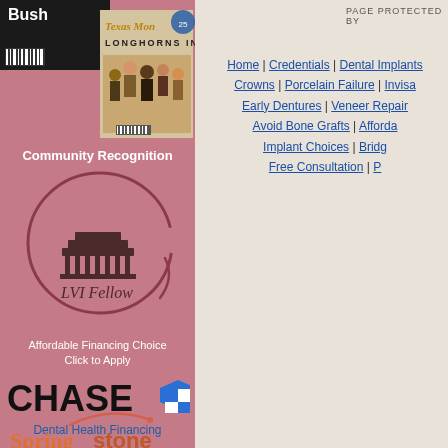[Figure (photo): Magazine covers including Bush and Texas Monthly Longhorns Inc. issues on pink background]
Community Recognition
[Figure (logo): LVI Fellow logo — pagoda/temple graphic inside a circular brushstroke, with text 'LVI Fellow']
Affordable Financing Choice
Click to Apply
[Figure (logo): Chase bank logo with octagon symbol]
Dental Health Financing
[Figure (logo): Springstone logo in orange/pink text on pink background]
PAGE PROTECTED BY
Home | Credentials | Dental Implants | Crowns | Porcelain Failure | Invisalign | Early Dentures | Veneer Repair | Avoid Bone Grafts | Affordable Implant Choices | Bridge | Free Consultation | P